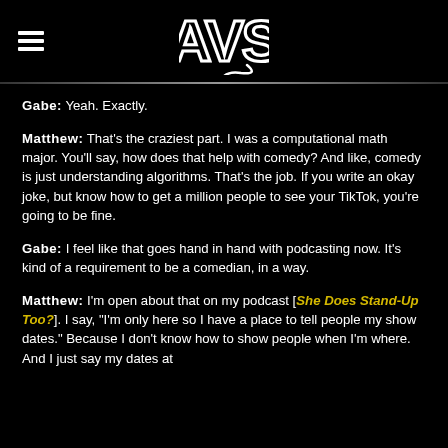AVS logo with hamburger menu
Gabe: Yeah. Exactly.
Matthew: That's the craziest part. I was a computational math major. You'll say, how does that help with comedy? And like, comedy is just understanding algorithms. That's the job. If you write an okay joke, but know how to get a million people to see your TikTok, you're going to be fine.
Gabe: I feel like that goes hand in hand with podcasting now. It's kind of a requirement to be a comedian, in a way.
Matthew: I'm open about that on my podcast [She Does Stand-Up Too?]. I say, "I'm only here so I have a place to tell people my show dates." Because I don't know how to show people when I'm where. And I just say my dates at